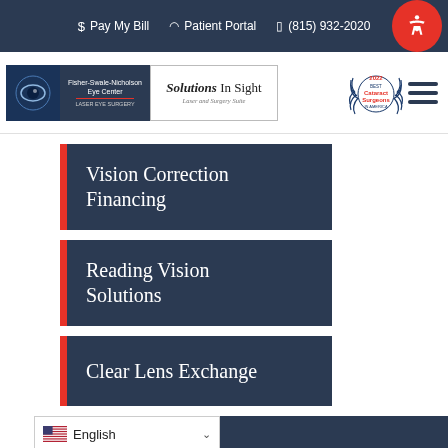$ Pay My Bill  | Patient Portal | (815) 932-2020
[Figure (logo): Fisher-Swale-Nicholson Eye Center / Solutions In Sight logo with award badge for Best Cataract Surgeons in America 2022]
Vision Correction Financing
Reading Vision Solutions
Clear Lens Exchange
English